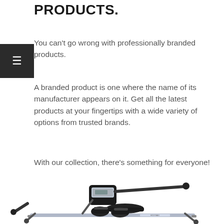PRODUCTS.
You can't go wrong with professionally branded products.
A branded product is one where the name of its manufacturer appears on it. Get all the latest products at your fingertips with a wide variety of options from trusted brands.
With our collection, there's something for everyone!
[Figure (photo): A rowing machine / exercise rower with a seat, footrests, handlebars, and a monitor display, shown on a rail, photographed from the side against a white background.]